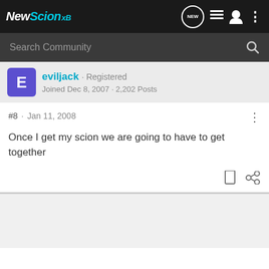NewScion xB
Search Community
eviljack · Registered
Joined Dec 8, 2007 · 2,202 Posts
#8 · Jan 11, 2008
Once I get my scion we are going to have to get together